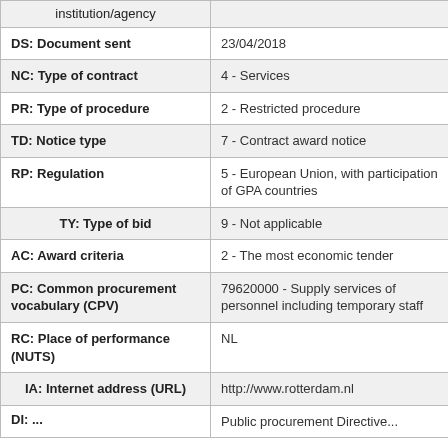| Field | Value |
| --- | --- |
| institution/agency |  |
| DS: Document sent | 23/04/2018 |
| NC: Type of contract | 4 - Services |
| PR: Type of procedure | 2 - Restricted procedure |
| TD: Notice type | 7 - Contract award notice |
| RP: Regulation | 5 - European Union, with participation of GPA countries |
| TY: Type of bid | 9 - Not applicable |
| AC: Award criteria | 2 - The most economic tender |
| PC: Common procurement vocabulary (CPV) | 79620000 - Supply services of personnel including temporary staff |
| RC: Place of performance (NUTS) | NL |
| IA: Internet address (URL) | http://www.rotterdam.nl |
| DI: ... | Public procurement Directive... |